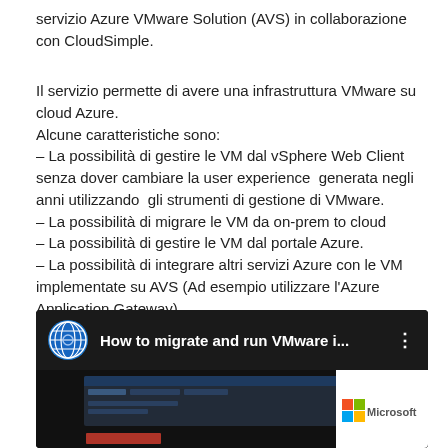servizio Azure VMware Solution (AVS) in collaborazione con CloudSimple.
Il servizio permette di avere una infrastruttura VMware su cloud Azure.
Alcune caratteristiche sono:
– La possibilità di gestire le VM dal vSphere Web Client senza dover cambiare la user experience  generata negli anni utilizzando  gli strumenti di gestione di VMware.
– La possibilità di migrare le VM da on-prem to cloud
– La possibilità di gestire le VM dal portale Azure.
– La possibilità di integrare altri servizi Azure con le VM implementate su AVS (Ad esempio utilizzare l'Azure Application Gateway)
Vi propongo questo video molto interessante un cui sono descritte alcune funzionalita:
[Figure (screenshot): YouTube video thumbnail showing 'How to migrate and run VMware i...' with a globe/gear icon and Microsoft branding. The video content shows a screenshot of what appears to be an Azure portal interface.]